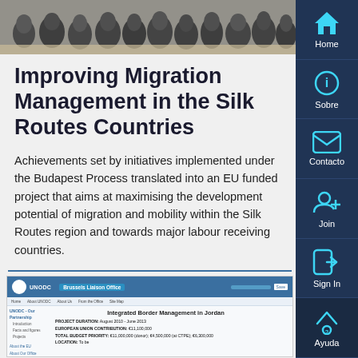[Figure (photo): Group of people seated at a conference or meeting, viewed from behind, black and white or muted tones]
Improving Migration Management in the Silk Routes Countries
Achievements set by initiatives implemented under the Budapest Process translated into an EU funded project that aims at maximising the development potential of migration and mobility within the Silk Routes region and towards major labour receiving countries.
[Figure (screenshot): Screenshot of UNODC Brussels Liaison Office website showing a page about Integrated Border Management in Jordan with project details including duration, European Union contribution, total budget priority, and location.]